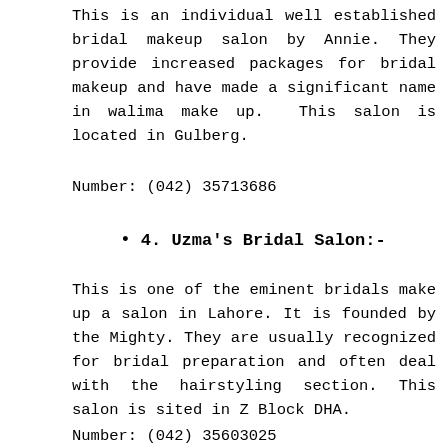This is an individual well established bridal makeup salon by Annie. They provide increased packages for bridal makeup and have made a significant name in walima make up.  This salon is located in Gulberg.
Number: (042) 35713686
4. Uzma's Bridal Salon:-
This is one of the eminent bridals make up a salon in Lahore. It is founded by the Mighty. They are usually recognized for bridal preparation and often deal with the hairstyling section. This salon is sited in Z Block DHA.
Number: (042) 35603025